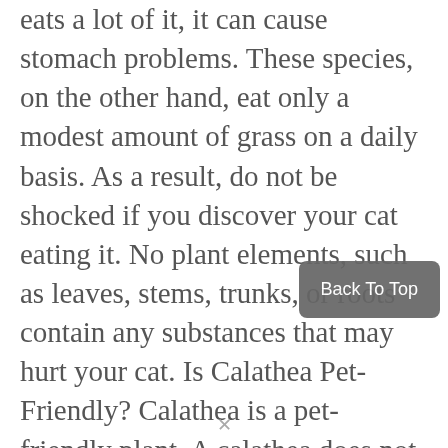eats a lot of it, it can cause stomach problems. These species, on the other hand, eat only a modest amount of grass on a daily basis. As a result, do not be shocked if you discover your cat eating it. No plant elements, such as leaves, stems, trunks, or roots contain any substances that may hurt your cat. Is Calathea Pet-Friendly? Calathea is a pet-friendly plant. A calathea does not poison any cat or dog species. But your cat can harm your plants by climbing them. Calathea does not emit any harmful substances, hence pets are safe in this situation. But, ingesting a lot of leaves could be hazardous to one's health. Is Calathea plant Cat-Friendly? Yes, Calathea is a cat-friendly plant. Both a cat